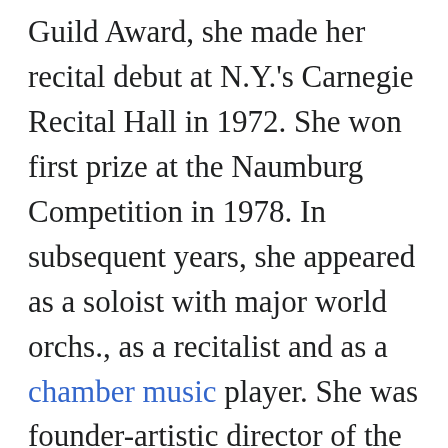Guild Award, she made her recital debut at N.Y.'s Carnegie Recital Hall in 1972. She won first prize at the Naumburg Competition in 1978. In subsequent years, she appeared as a soloist with major world orchs., as a recitalist and as a chamber music player. She was founder-artistic director of the International Flute Festival in St. Paul, Minn. (1985-87). She taught at the Manhattan School of Music (1980-86), the Ind. Univ. School of Music in Bloomington (1986-88),